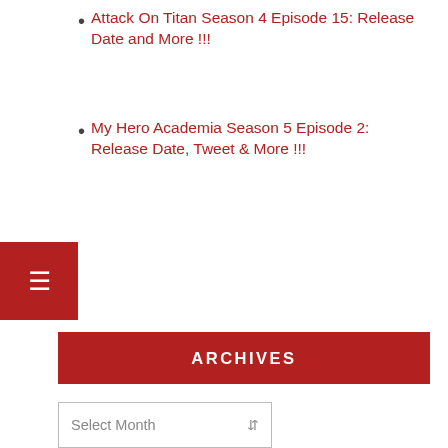Attack On Titan Season 4 Episode 15: Release Date and More !!!
My Hero Academia Season 5 Episode 2: Release Date, Tweet & More !!!
ARCHIVES
Select Month
CATEGORIES
CELEBRITY
FEATURED
GENERAL NEWS
MORE
MOVIES